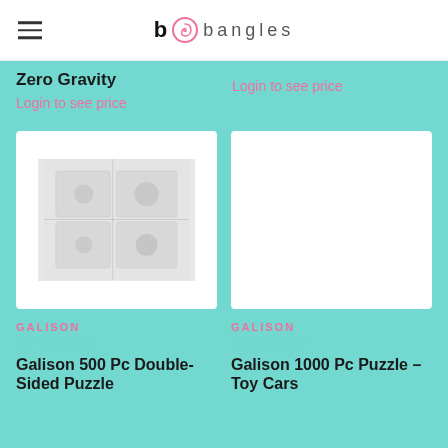[Figure (logo): bobangles logo with hamburger menu icon on left, bold b with pink swirl icon and 'bangles' text in thin letters]
Zero Gravity
Login to see price
Login to see price
[Figure (photo): Galison 500 Pc Double-Sided Puzzle product image showing a faint gray puzzle graphic on white background]
[Figure (photo): Galison 1000 Pc Puzzle Toy Cars product image, blank white card placeholder]
GALISON
G0735355309
Galison 500 Pc Double-Sided Puzzle
GALISON
G0735360150
Galison 1000 Pc Puzzle – Toy Cars